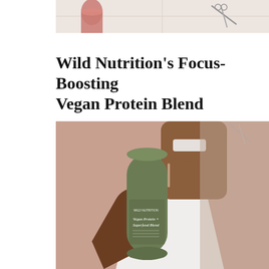[Figure (photo): Top partial photo showing a desk surface with a pink/rose colored cylindrical object and what appears to be scissors or stationery items on a white tiled surface]
Wild Nutrition’s Focus-Boosting Vegan Protein Blend
[Figure (photo): A smiling Black woman in a white V-neck top holding up a green cylindrical tube product labeled 'Wild Nutrition Vegan Protein + Superfood Blend' against a warm pink/blush background]